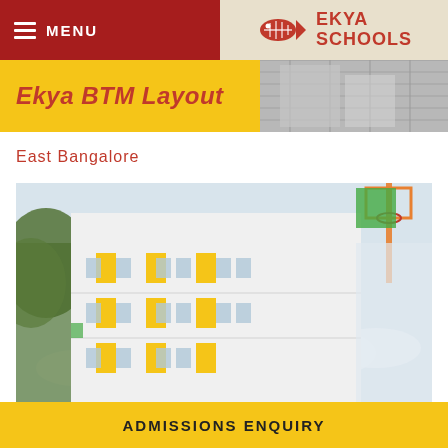MENU | EKYA SCHOOLS
Ekya BTM Layout
East Bangalore
[Figure (photo): Exterior photo of Ekya BTM Layout school building, a modern multi-storey white and yellow building viewed from below, with trees and basketball hoop visible]
ADMISSIONS ENQUIRY